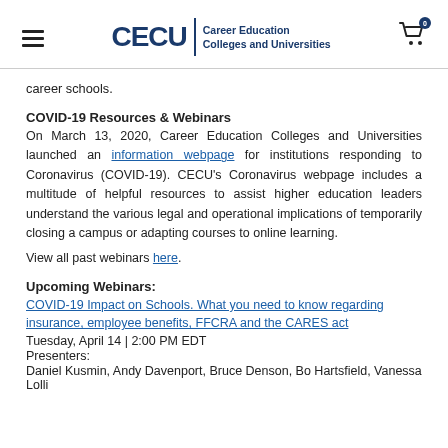CECU Career Education Colleges and Universities [logo] | [cart icon] 0
career schools.
COVID-19 Resources & Webinars
On March 13, 2020, Career Education Colleges and Universities launched an information webpage for institutions responding to Coronavirus (COVID-19). CECU's Coronavirus webpage includes a multitude of helpful resources to assist higher education leaders understand the various legal and operational implications of temporarily closing a campus or adapting courses to online learning.
View all past webinars here.
Upcoming Webinars:
COVID-19 Impact on Schools. What you need to know regarding insurance, employee benefits, FFCRA and the CARES act
Tuesday, April 14 | 2:00 PM EDT
Presenters:
Daniel Kusmin, Andy Davenport, Bruce Denson, Bo Hartsfield, Vanessa Lolli